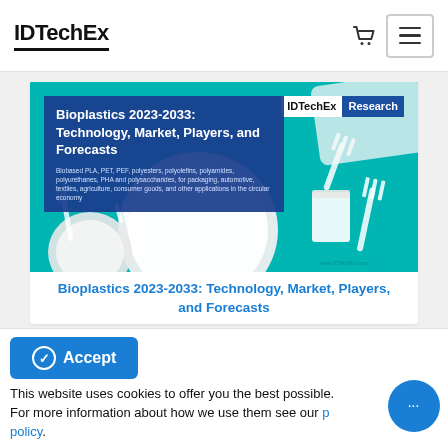IDTechEx
[Figure (photo): Cover image of IDTechEx Research report on Bioplastics 2023-2033: Technology, Market, Players, and Forecasts. Shows white disposable plates, forks, and a cup on a teal background. Blue overlay box with report title on the left, IDTechEx Research badge top right.]
Bioplastics 2023-2033: Technology, Market, Players, and Forecasts
This website uses cookies to offer you the best possible experience. For more information about how we use them see our privacy policy.